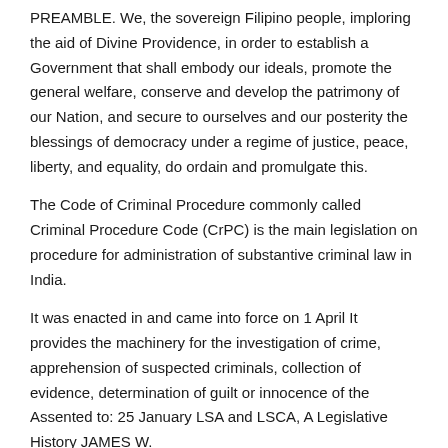PREAMBLE. We, the sovereign Filipino people, imploring the aid of Divine Providence, in order to establish a Government that shall embody our ideals, promote the general welfare, conserve and develop the patrimony of our Nation, and secure to ourselves and our posterity the blessings of democracy under a regime of justice, peace, liberty, and equality, do ordain and promulgate this.
The Code of Criminal Procedure commonly called Criminal Procedure Code (CrPC) is the main legislation on procedure for administration of substantive criminal law in India.
It was enacted in and came into force on 1 April It provides the machinery for the investigation of crime, apprehension of suspected criminals, collection of evidence, determination of guilt or innocence of the Assented to: 25 January LSA and LSCA, A Legislative History JAMES W.
FRY THIS ARTICLE TRACES the legislative development of the Library Services Act (LSA) of and the Library Services and